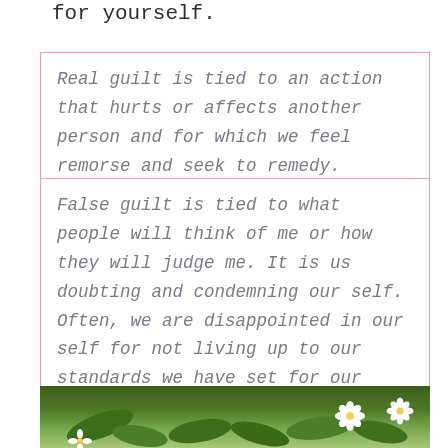for yourself.
Real guilt is tied to an action that hurts or affects another person and for which we feel remorse and seek to remedy.
False guilt is tied to what people will think of me or how they will judge me. It is us doubting and condemning our self. Often, we are disappointed in our self for not living up to our standards we have set for our self. Not doing what we think we should do or what we think others think we should do, or would do).
[Figure (photo): White flowers with green leaves in a garden or natural setting, photographed from above.]